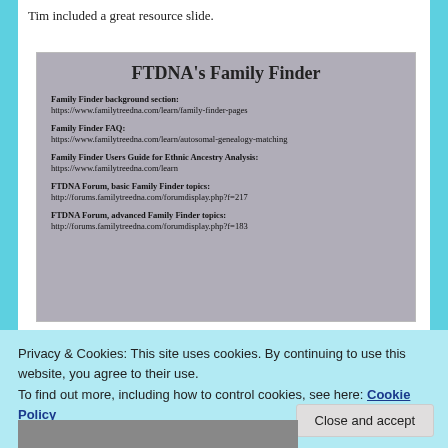Tim included a great resource slide.
[Figure (photo): A photograph of a presentation slide titled 'FTDNA's Family Finder' containing resource links: Family Finder background section (https://www.familytreedna.com/learn/family-finder-pages), Family Finder FAQ (https://www.familytreedna.com/learn/autosomal-genealogy-matching), Family Finder Users Guide for Ethnic Ancestry Analysis (https://www.familytreedna.com/learn), FTDNA Forum basic Family Finder topics (http://forums.familytreedna.com/forumdisplay.php?f=217), FTDNA Forum advanced Family Finder topics (http://forums.familytreedna.com/forumdisplay.php?f=183)]
Privacy & Cookies: This site uses cookies. By continuing to use this website, you agree to their use. To find out more, including how to control cookies, see here: Cookie Policy
Close and accept